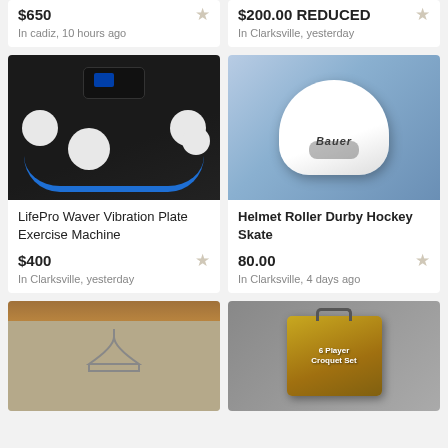$650
In cadiz, 10 hours ago
$200.00 REDUCED
In Clarksville, yesterday
[Figure (photo): LifePro Waver Vibration Plate Exercise Machine with blue accent and white circles on dark mat]
LifePro Waver Vibration Plate Exercise Machine
$400
In Clarksville, yesterday
[Figure (photo): White Bauer hockey helmet on brown surface]
Helmet Roller Durby Hockey Skate
80.00
In Clarksville, 4 days ago
[Figure (photo): Wire hanger on beige carpet with wood trim above]
[Figure (photo): 6 Player Croquet Set box with gold case and handle]